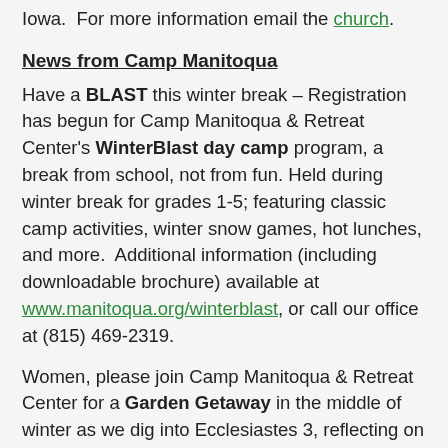Iowa.  For more information email the church.
News from Camp Manitoqua
Have a BLAST this winter break – Registration has begun for Camp Manitoqua & Retreat Center's WinterBlast day camp program, a break from school, not from fun. Held during winter break for grades 1-5; featuring classic camp activities, winter snow games, hot lunches, and more.  Additional information (including downloadable brochure) available at www.manitoqua.org/winterblast, or call our office at (815) 469-2319.
Women, please join Camp Manitoqua & Retreat Center for a Garden Getaway in the middle of winter as we dig into Ecclesiastes 3, reflecting on God's timing in the seasons of our lives, on January 9-10, 2015. This overnight retreat for women, with biblical teaching from materials from Group Publishing, group